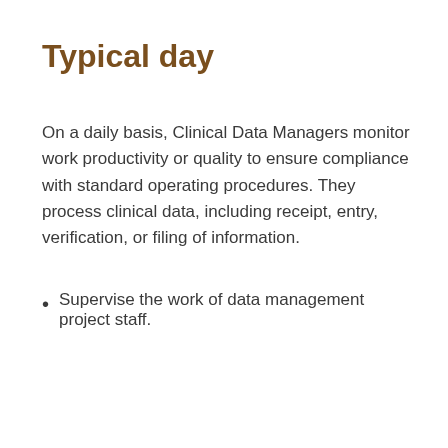Typical day
On a daily basis, Clinical Data Managers monitor work productivity or quality to ensure compliance with standard operating procedures. They process clinical data, including receipt, entry, verification, or filing of information.
Supervise the work of data management project staff.